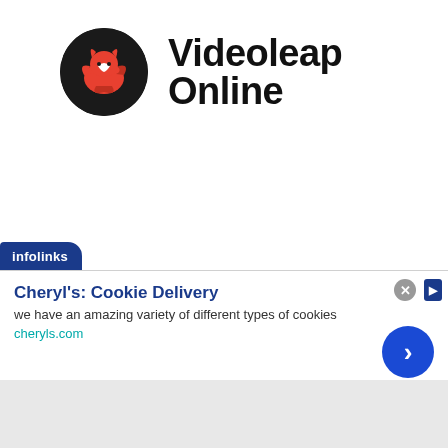[Figure (logo): Videoleap app logo: circular black background with red and white stylized bird/fox icon]
Videoleap Online
[Figure (infographic): Infolinks advertisement banner. Contains infolinks tab label, close button (x), arrow tab. Ad content: 'Cheryl's: Cookie Delivery' - 'we have an amazing variety of different types of cookies' - cheryls.com - with a blue circular arrow/chevron button.]